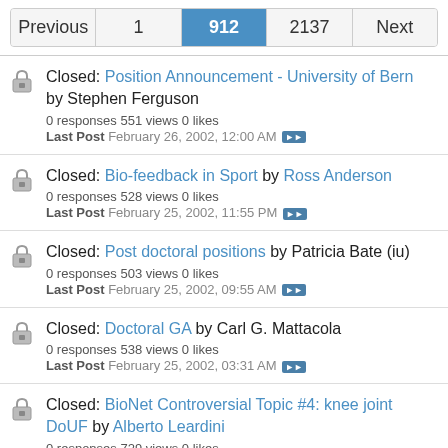Previous | 1 | 912 | 2137 | Next
Closed: Position Announcement - University of Bern by Stephen Ferguson
0 responses 551 views 0 likes
Last Post February 26, 2002, 12:00 AM
Closed: Bio-feedback in Sport by Ross Anderson
0 responses 528 views 0 likes
Last Post February 25, 2002, 11:55 PM
Closed: Post doctoral positions by Patricia Bate (iu)
0 responses 503 views 0 likes
Last Post February 25, 2002, 09:55 AM
Closed: Doctoral GA by Carl G. Mattacola
0 responses 538 views 0 likes
Last Post February 25, 2002, 03:31 AM
Closed: BioNet Controversial Topic #4: knee joint DoUF by Alberto Leardini
0 responses 729 views 0 likes
Last Post February 25, 2002, 02:55 AM
Closed: ulna fixation by Heather Smartt